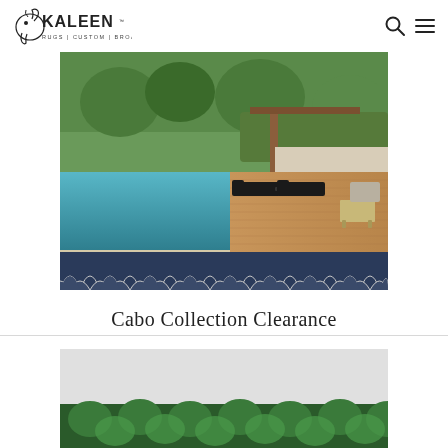Kaleen Rugs | Custom | Broadloom
[Figure (photo): Outdoor pool patio scene with a blue and white scallop-patterned rug by the poolside, lounge chairs, wooden deck, tropical greenery in the background]
Cabo Collection Clearance
[Figure (photo): Partial view of another rug collection, green tones visible at bottom of page]